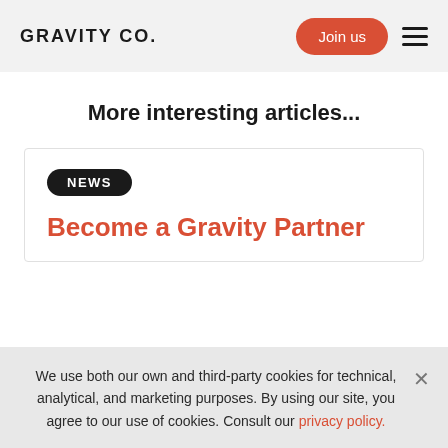GRAVITY CO.
More interesting articles...
NEWS
Become a Gravity Partner
We use both our own and third-party cookies for technical, analytical, and marketing purposes. By using our site, you agree to our use of cookies. Consult our privacy policy.